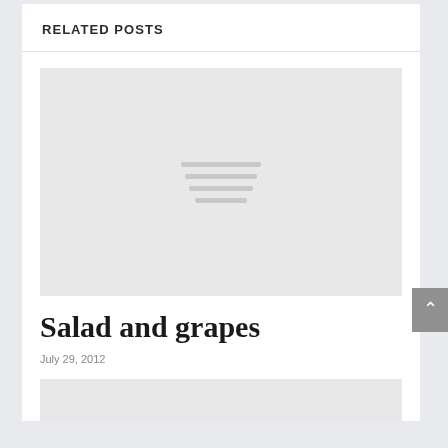RELATED POSTS
[Figure (photo): Placeholder image for a blog post, showing a light gray rectangle with darker gray horizontal lines in the center indicating a loading or missing image state]
Salad and grapes
July 29, 2012
[Figure (photo): Another placeholder image, light gray, partially visible at bottom of page]